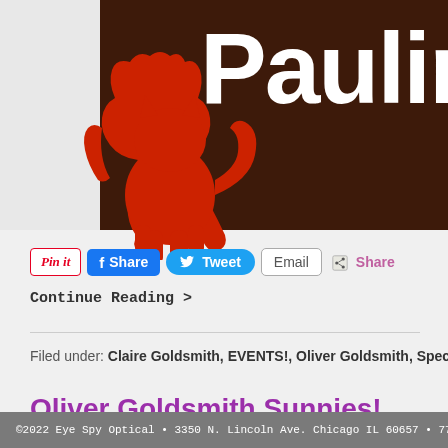[Figure (logo): Paulina Market logo with red cat silhouette on dark brown background with white text 'Paulina']
Pin it  Share  Tweet  Email  Share
Continue Reading >
Filed under: Claire Goldsmith, EVENTS!, Oliver Goldsmith, Spectacular Su...
Oliver Goldsmith Sunnies!
©2022 Eye Spy Optical • 3350 N. Lincoln Ave. Chicago IL 60657 • 773.477.26...